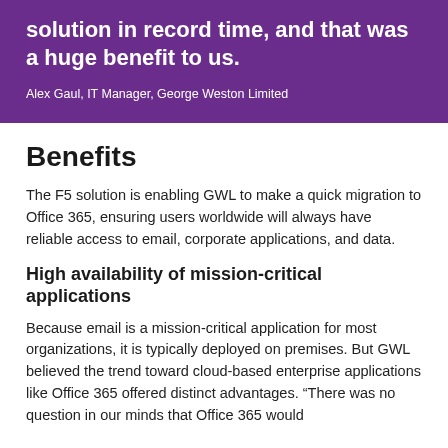solution in record time, and that was a huge benefit to us.
Alex Gaul, IT Manager, George Weston Limited
Benefits
The F5 solution is enabling GWL to make a quick migration to Office 365, ensuring users worldwide will always have reliable access to email, corporate applications, and data.
High availability of mission-critical applications
Because email is a mission-critical application for most organizations, it is typically deployed on premises. But GWL believed the trend toward cloud-based enterprise applications like Office 365 offered distinct advantages. “There was no question in our minds that Office 365 would